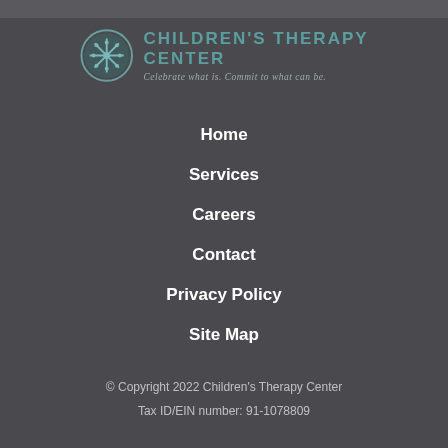[Figure (logo): Children's Therapy Center logo with circular snowflake/star emblem and text. Tagline: Celebrate what is. Commit to what can be.]
Home
Services
Careers
Contact
Privacy Policy
Site Map
© Copyright 2022 Children's Therapy Center
Tax ID/EIN number: 91-1078809